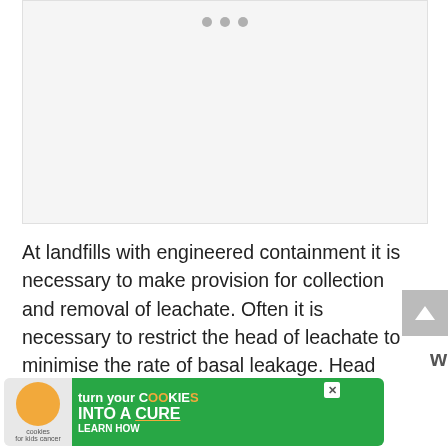[Figure (photo): Image placeholder with three navigation dots at top, light gray background]
At landfills with engineered containment it is necessary to make provision for collection and removal of leachate. Often it is necessary to restrict the head of leachate to minimise the rate of basal leakage. Head limits are typically set at 300-1000mm leachate depth. This usually requires the installation of
[Figure (other): Advertisement banner: turn your COOKIES into a CURE LEARN HOW - cookies for kids cancer]